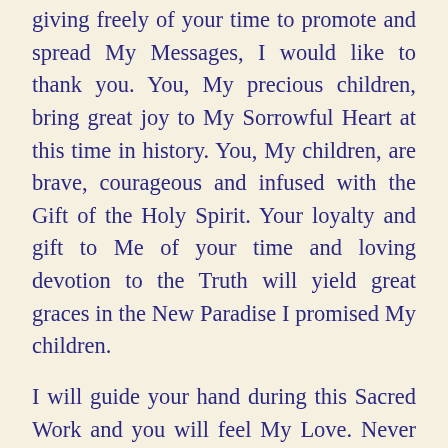giving freely of your time to promote and spread My Messages, I would like to thank you. You, My precious children, bring great joy to My Sorrowful Heart at this time in history. You, My children, are brave, courageous and infused with the Gift of the Holy Spirit. Your loyalty and gift to Me of your time and loving devotion to the Truth will yield great graces in the New Paradise I promised My children.
I will guide your hand during this Sacred Work and you will feel My Love. Never be fearful of proclaiming My Word, for every little effort made by anyone who promotes these Messages will be rewarded.
Go now, My precious, loyal followers. Spread My Holy Word and help your brothers and sisters